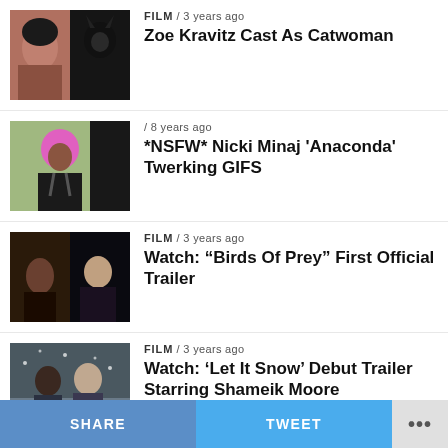[Figure (photo): Thumbnail showing Zoe Kravitz and Batwoman/Catwoman character]
FILM / 3 years ago
Zoe Kravitz Cast As Catwoman
[Figure (photo): Thumbnail showing Nicki Minaj with pink hair]
/ 8 years ago
*NSFW* Nicki Minaj 'Anaconda' Twerking GIFS
[Figure (photo): Thumbnail showing Birds of Prey movie scene]
FILM / 3 years ago
Watch: "Birds Of Prey" First Official Trailer
[Figure (photo): Thumbnail showing two teens in winter clothes from Let It Snow]
FILM / 3 years ago
Watch: 'Let It Snow' Debut Trailer Starring Shameik Moore
[Figure (photo): Partial thumbnail dark image]
MUSIC / 3 years ago
SHARE   TWEET   ...